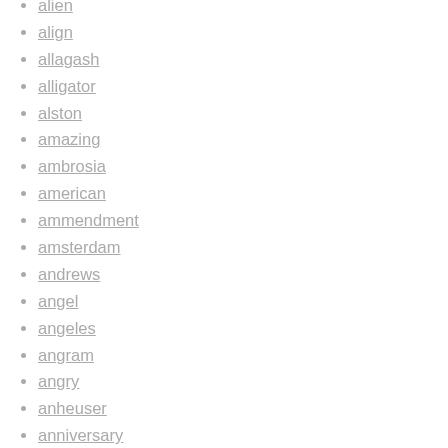alien
align
allagash
alligator
alston
amazing
ambrosia
american
ammendment
amsterdam
andrews
angel
angeles
angram
angry
anheuser
anniversary
another
anthem
antique
anything